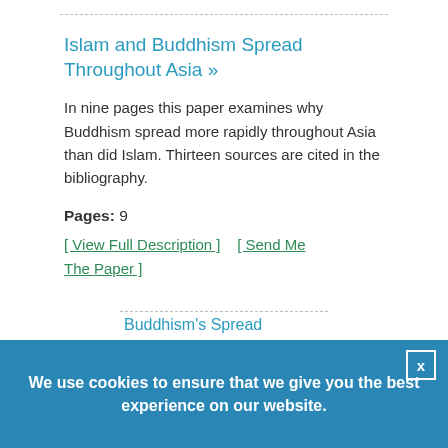Islam and Buddhism Spread Throughout Asia »
In nine pages this paper examines why Buddhism spread more rapidly throughout Asia than did Islam. Thirteen sources are cited in the bibliography.
Pages: 9
[ View Full Description ]    [ Send Me The Paper ]
Buddhism's Spread
We use cookies to ensure that we give you the best experience on our website.